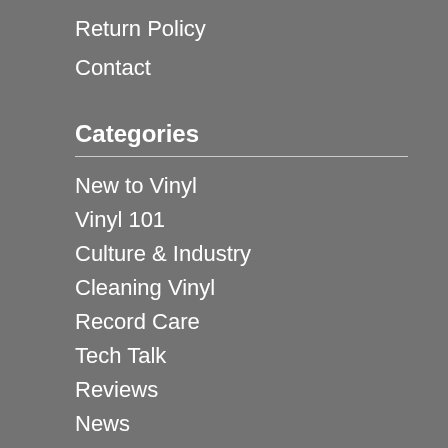Return Policy
Contact
Categories
New to Vinyl
Vinyl 101
Culture & Industry
Cleaning Vinyl
Record Care
Tech Talk
Reviews
News
Affiliate Disclaimer